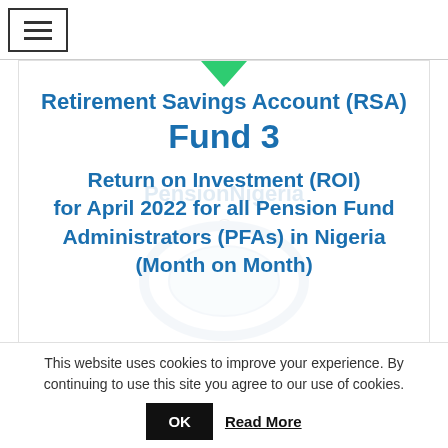≡
Retirement Savings Account (RSA) Fund 3
Return on Investment (ROI) for April 2022 for all Pension Fund Administrators (PFAs) in Nigeria (Month on Month)
This website uses cookies to improve your experience. By continuing to use this site you agree to our use of cookies.
OK  Read More